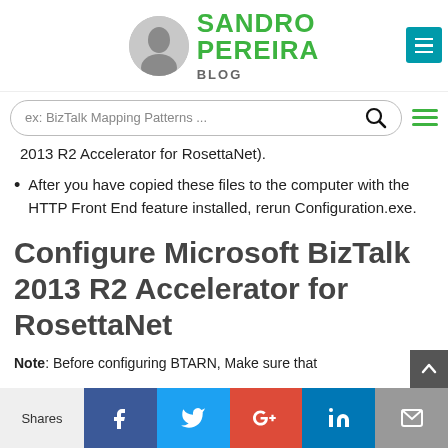SANDRO PEREIRA BLOG
ex: BizTalk Mapping Patterns ...
2013 R2 Accelerator for RosettaNet).
After you have copied these files to the computer with the HTTP Front End feature installed, rerun Configuration.exe.
Configure Microsoft BizTalk 2013 R2 Accelerator for RosettaNet
Note: Before configuring BTARN, Make sure that